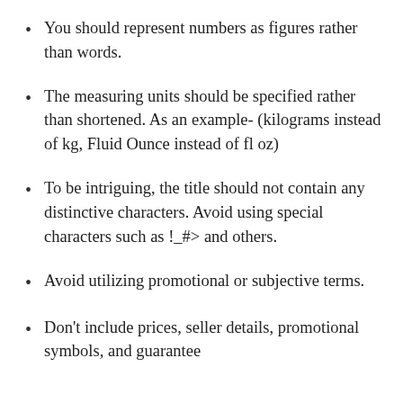You should represent numbers as figures rather than words.
The measuring units should be specified rather than shortened. As an example- (kilograms instead of kg, Fluid Ounce instead of fl oz)
To be intriguing, the title should not contain any distinctive characters. Avoid using special characters such as !_#> and others.
Avoid utilizing promotional or subjective terms.
Don’t include prices, seller details, promotional symbols, and guarantee